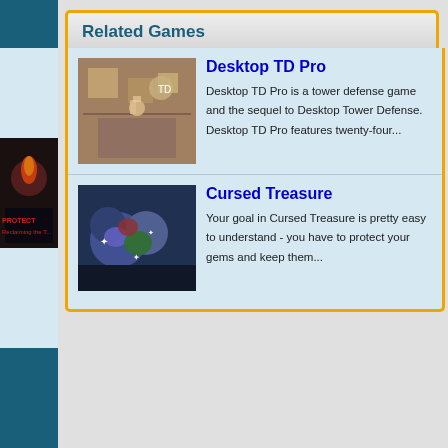Related Games
[Figure (screenshot): Thumbnail of Desktop TD Pro game showing tower defense gameplay from top-down view]
Desktop TD Pro
Desktop TD Pro is a tower defense game and the sequel to Desktop Tower Defense. Desktop TD Pro features twenty-four...
[Figure (screenshot): Partial thumbnail of another game showing a glowing creature]
M...
Mo... wh... sp... fea...
[Figure (screenshot): Thumbnail of Cursed Treasure game showing colorful gems and enemies]
Cursed Treasure
Your goal in Cursed Treasure is pretty easy to understand - you have to protect your gems and keep them...
[Figure (screenshot): Partial thumbnail showing Protect the Tower game with fire imagery and text 'Reclaiming the Tower']
P... T...
Pr... a f... sa...
TOP TOWER DEFENSE GAMES | CONTACT US | PRIVACY | TERMS OF...
© Copyright 2010-2022 Top Tower Defense Games. All rights reserved.
Third-party trademarks are used solely for distributing the games indexed herein a...